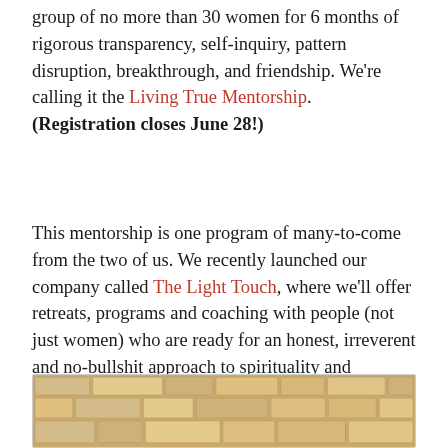group of no more than 30 women for 6 months of rigorous transparency, self-inquiry, pattern disruption, breakthrough, and friendship. We're calling it the Living True Mentorship. (Registration closes June 28!)
This mentorship is one program of many-to-come from the two of us. We recently launched our company called The Light Touch, where we'll offer retreats, programs and coaching with people (not just women) who are ready for an honest, irreverent and no-bullshit approach to spirituality and personal growth.
[Figure (photo): Photo of a stone wall with beige and tan colored stones arranged in a natural pattern.]